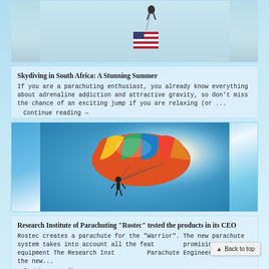[Figure (photo): Partial view of a skydiver with an American flag against a light sky, cropped showing only lower portion]
Skydiving in South Africa: A Stunning Summer
If you are a parachuting enthusiast, you already know everything about adrenaline addiction and attractive gravity, so don't miss the chance of an exciting jump if you are relaxing (or ...
Continue reading →
[Figure (photo): Colorful parasail canopy with bright blue sky and sun glare, person suspended below on lines]
Research Institute of Parachuting "Rostec" tested the products in its CEO
Rostec creates a parachute for the "Warrior". The new parachute system takes into account all the features of promising combat equipment The Research Institute of Parachute Engineering tested the new...
Continue reading →